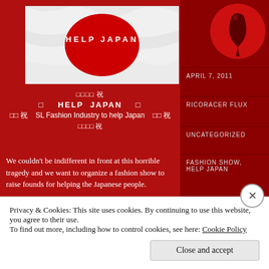[Figure (illustration): Help Japan banner showing Japanese flag (red circle on white background) with 'HELP JAPAN' text in white letters inside the red circle]
□□□□ 祝 □ HELP JAPAN □ □□ 祝 SL Fashion Industry to help Japan □□ 祝 □□□□ 祝
We couldn't be indifferent in front at this horrible tragedy and we want to organize a fashion show to raise founds for helping the Japanese people.
APRIL 7, 2011
RICORACER FLUX
UNCATEGORIZED
FASHION SHOW, HELP JAPAN
Privacy & Cookies: This site uses cookies. By continuing to use this website, you agree to their use. To find out more, including how to control cookies, see here: Cookie Policy
Close and accept